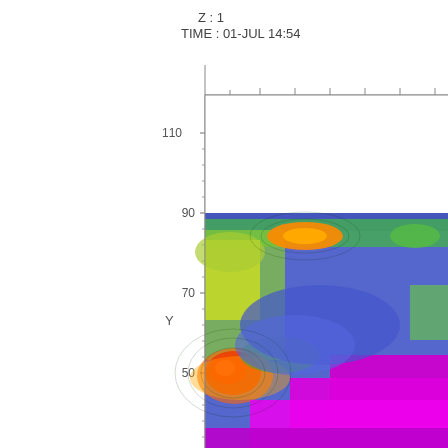[Figure (continuous-plot): 2D contour/heatmap plot showing spatial data at Z=1, TIME: 01-JUL 14:54. Y-axis labeled 'Y' with tick marks at 30 (partially visible), 50, 70, 90, 110. X-axis has tick marks but no visible labels. The plot shows a colormap ranging from blue (low) through green, yellow, orange, red (high) to magenta/purple (possibly different variable range). Notable features include a red/orange hot spot near Y=50 on the left side, an orange blob near Y=82 in the center-left, green-yellow ridge along Y=88-90, and large magenta/purple region in the lower right.]